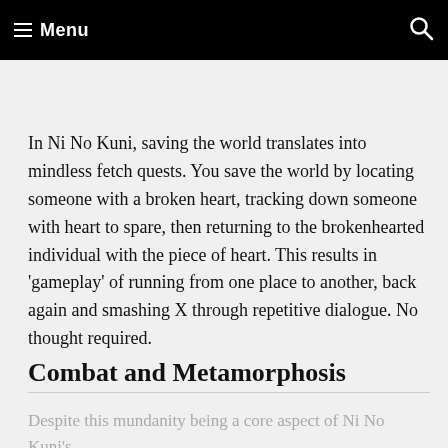≡ Menu
In Ni No Kuni, saving the world translates into mindless fetch quests. You save the world by locating someone with a broken heart, tracking down someone with heart to spare, then returning to the brokenhearted individual with the piece of heart. This results in 'gameplay' of running from one place to another, back again and smashing X through repetitive dialogue. No thought required.
Combat and Metamorphosis
Despite this mundanity being a core aspect of Ni No Kuni's